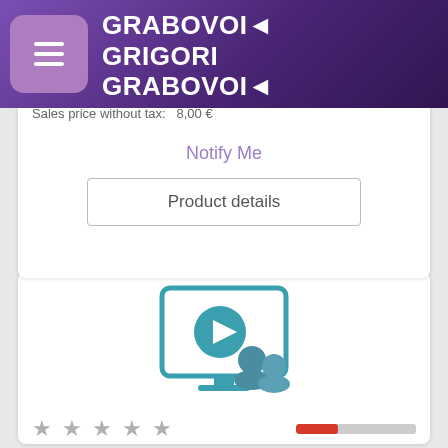GRABOVOI GRIGORI GRABOVOI
Sales price without tax: 8,00 €
Notify Me
Product details
[Figure (illustration): Video webinar product thumbnail icon showing a monitor with play button and two user silhouettes in teal/blue color]
★ ★ ★ ★ ★
«Григорий Грабовой "Развитие материи будущего».
Дата 21.02.2019 Время 16:10 CET (18:10 московское ...
Base price for variant: 8,00 €
Sales price: 8,00 €